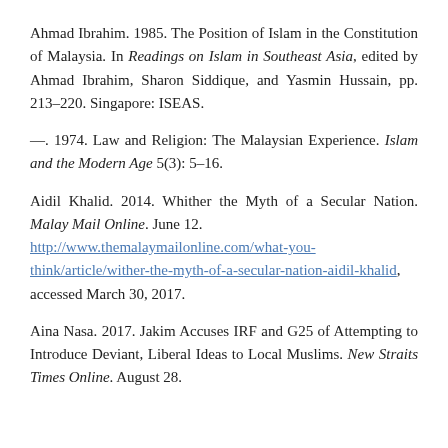Ahmad Ibrahim. 1985. The Position of Islam in the Constitution of Malaysia. In Readings on Islam in Southeast Asia, edited by Ahmad Ibrahim, Sharon Siddique, and Yasmin Hussain, pp. 213–220. Singapore: ISEAS.
—. 1974. Law and Religion: The Malaysian Experience. Islam and the Modern Age 5(3): 5–16.
Aidil Khalid. 2014. Whither the Myth of a Secular Nation. Malay Mail Online. June 12. http://www.themalaymailonline.com/what-you-think/article/wither-the-myth-of-a-secular-nation-aidil-khalid, accessed March 30, 2017.
Aina Nasa. 2017. Jakim Accuses IRF and G25 of Attempting to Introduce Deviant, Liberal Ideas to Local Muslims. New Straits Times Online. August 28.